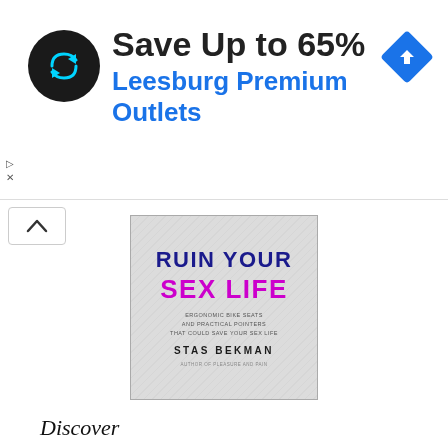[Figure (screenshot): Advertisement banner: black circular logo with looping arrow symbol, text 'Save Up to 65%' in bold black, 'Leesburg Premium Outlets' in blue, and a blue diamond navigation icon on the right. Small ad indicators (triangle play icon and X) on the left.]
[Figure (photo): Book cover for 'RUIN YOUR SEX LIFE' by Stas Bekman. Title in dark blue and magenta/pink, subtitle text about ergonomic bike seats and practical pointers that could save your sex life.]
Discover
Answers FAQ